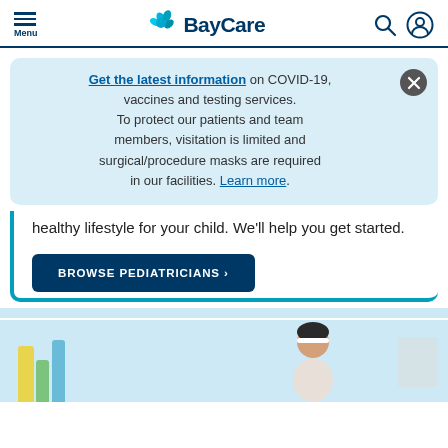BayCare
Get the latest information on COVID-19, vaccines and testing services. To protect our patients and team members, visitation is limited and surgical/procedure masks are required in our facilities. Learn more.
healthy lifestyle for your child. We'll help you get started.
BROWSE PEDIATRICIANS >
[Figure (photo): Bottom section showing a person (child or woman with headband) and colorful vertical strips (yellow, green, blue) against a light blue background]